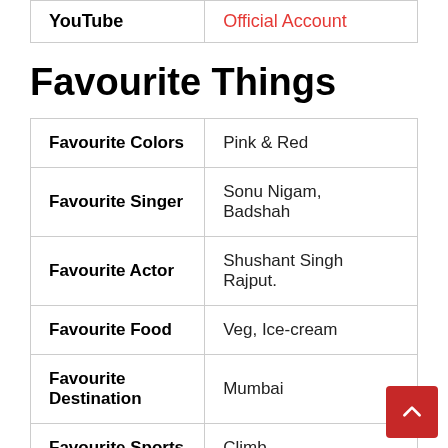| YouTube | Official Account |
| --- | --- |
Favourite Things
| Category | Value |
| --- | --- |
| Favourite Colors | Pink & Red |
| Favourite Singer | Sonu Nigam, Badshah |
| Favourite Actor | Shushant Singh Rajput. |
| Favourite Food | Veg, Ice-cream |
| Favourite Destination | Mumbai |
| Favourite Sports | Climb |